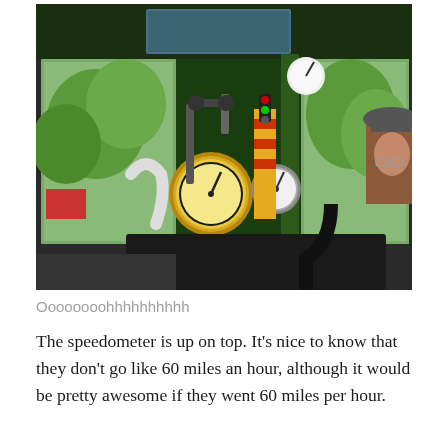[Figure (photo): Interior view of a steam locomotive cab showing gauges, pipes, valves, and controls in green painted cab. A person wearing a hat and glasses is visible on the right side looking out the window. Lush greenery is visible through the cab windows.]
Oooooooohhhhhhhhhh
The speedometer is up on top. It's nice to know that they don't go like 60 miles an hour, although it would be pretty awesome if they went 60 miles per hour.